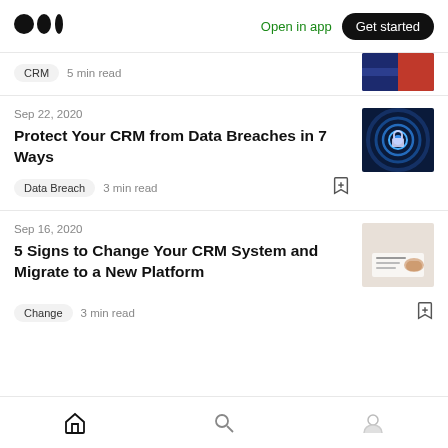Medium logo | Open in app | Get started
CRM  5 min read
Sep 22, 2020
Protect Your CRM from Data Breaches in 7 Ways
Data Breach  3 min read
Sep 16, 2020
5 Signs to Change Your CRM System and Migrate to a New Platform
Change  3 min read
Home | Search | Profile